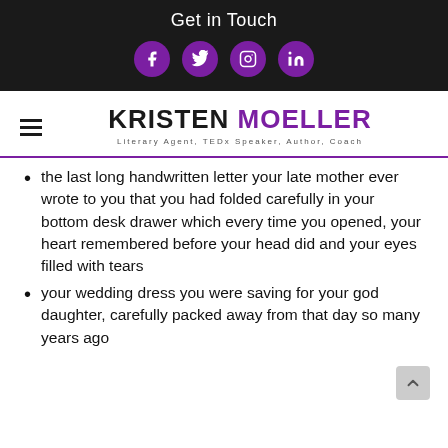Get in Touch
[Figure (other): Social media icons: Facebook, Twitter, Instagram, LinkedIn — purple circular icons on dark background]
KRISTEN MOELLER
Literary Agent, TEDx Speaker, Author, Coach
the last long handwritten letter your late mother ever wrote to you that you had folded carefully in your bottom desk drawer which every time you opened, your heart remembered before your head did and your eyes filled with tears
your wedding dress you were saving for your god daughter, carefully packed away from that day so many years ago